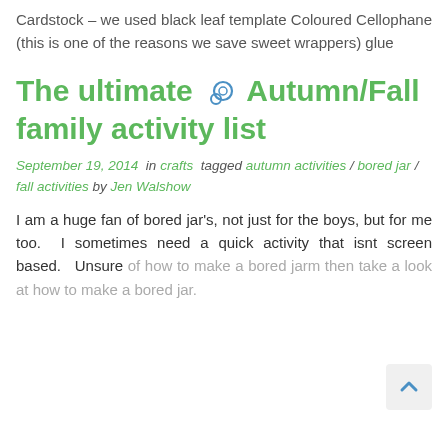Cardstock – we used black leaf template Coloured Cellophane (this is one of the reasons we save sweet wrappers) glue
The ultimate Autumn/Fall family activity list
September 19, 2014  in crafts  tagged autumn activities / bored jar / fall activities by Jen Walshow
I am a huge fan of bored jar's, not just for the boys, but for me too.  I sometimes need a quick activity that isnt screen based.  Unsure of how to make a bored jarm then take a look at how to make a bored jar.